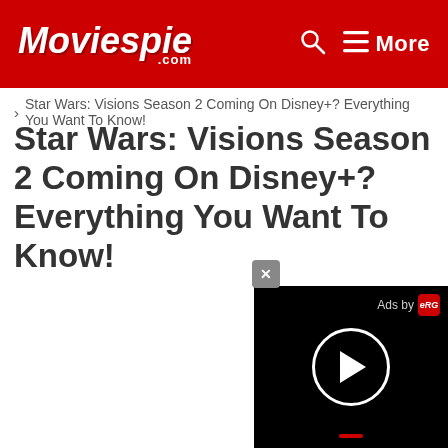Moviespie.com
> Star Wars: Visions Season 2 Coming On Disney+? Everything You Want To Know!
Star Wars: Visions Season 2 Coming On Disney+? Everything You Want To Know!
[Figure (screenshot): Video ad player overlay with close button, 'Ads by eRG' label, black background with circular play button, and red progress bar at bottom]